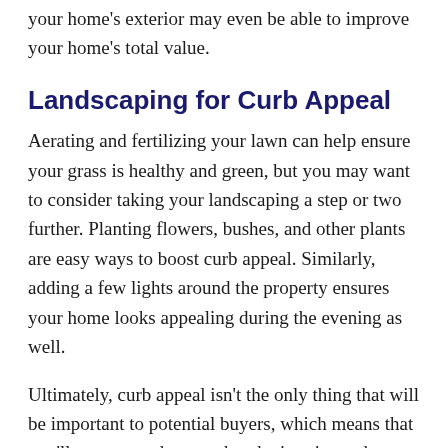your home's exterior may even be able to improve your home's total value.
Landscaping for Curb Appeal
Aerating and fertilizing your lawn can help ensure your grass is healthy and green, but you may want to consider taking your landscaping a step or two further. Planting flowers, bushes, and other plants are easy ways to boost curb appeal. Similarly, adding a few lights around the property ensures your home looks appealing during the evening as well.
Ultimately, curb appeal isn't the only thing that will be important to potential buyers, which means that you'll want to make sure that the interior and every other aspect of the home is in good shape as well. Still, even the most beautiful interior won't be worth much if the exterior scares potential buyers